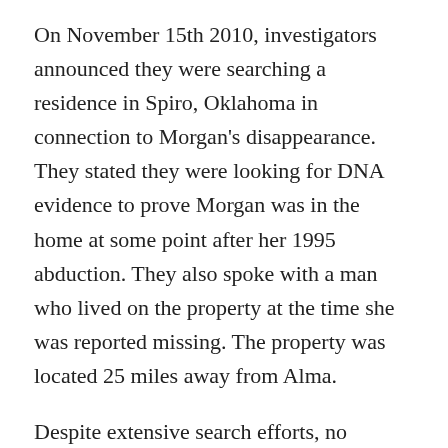On November 15th 2010, investigators announced they were searching a residence in Spiro, Oklahoma in connection to Morgan's disappearance. They stated they were looking for DNA evidence to prove Morgan was in the home at some point after her 1995 abduction. They also spoke with a man who lived on the property at the time she was reported missing. The property was located 25 miles away from Alma.
Despite extensive search efforts, no evidence regarding Morgan's disappearance was located on the property and it's unclear if she ever was there. No charges or arrests were made either but investigators did state that the home belonged to an individual who has been a person of interest in Morgan's abduction since the initial investigation into her disappearance took place in 1995.The person of interest in question was later sent to the Oklahoma Penitentiary on charges of rape and